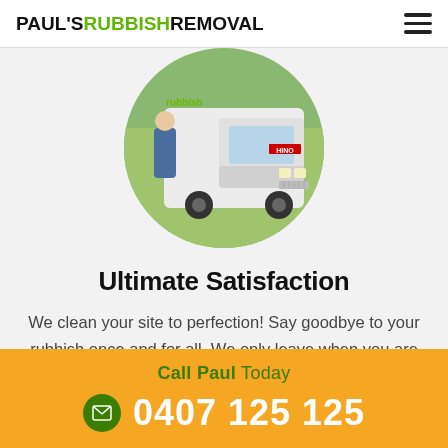PAUL'S RUBBISH REMOVAL
[Figure (photo): Circular cropped photo of a white Hino truck with a person standing near it on grass, with green text partially visible on the truck.]
Ultimate Satisfaction
We clean your site to perfection! Say goodbye to your rubbish once and for all. We only leave when you are 110% happy with the job completed. That's our promise to you!
Call Paul Today
0407 125 125